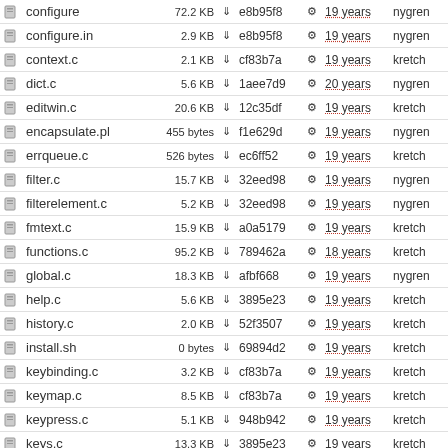|  | filename | size |  | hash |  | age | author | commit message |
| --- | --- | --- | --- | --- | --- | --- | --- | --- |
|  | configure | 72.2 KB | ↓ | e8b95f8 | ⚙ | 19 years | nygren | portability |
|  | configure.in | 2.9 KB | ↓ | e8b95f8 | ⚙ | 19 years | nygren | portability |
|  | context.c | 2.1 KB | ↓ | cf83b7a | ⚙ | 19 years | kretch | Started ac |
|  | dict.c | 5.6 KB | ↓ | 1aee7d9 | ⚙ | 20 years | nygren | * Added R |
|  | editwin.c | 20.6 KB | ↓ | 12c35df | ⚙ | 19 years | kretch | Fixed rep |
|  | encapsulate.pl | 455 bytes | ↓ | f1e629d | ⚙ | 19 years | nygren | New API t |
|  | errqueue.c | 526 bytes | ↓ | ec6ff52 | ⚙ | 19 years | kretch | Added the |
|  | filter.c | 15.7 KB | ↓ | 32eed98 | ⚙ | 19 years | nygren | 2.1.3-pre- |
|  | filterelement.c | 5.2 KB | ↓ | 32eed98 | ⚙ | 19 years | nygren | 2.1.3-pre- |
|  | fmtext.c | 15.9 KB | ↓ | a0a5179 | ⚙ | 19 years | kretch | blist work |
|  | functions.c | 95.2 KB | ↓ | 789462a | ⚙ | 18 years | kretch | Do ntohs( |
|  | global.c | 18.3 KB | ↓ | afbf668 | ⚙ | 19 years | nygren | pexec will |
|  | help.c | 5.6 KB | ↓ | 3895e23 | ⚙ | 19 years | kretch | The '!' key |
|  | history.c | 2.0 KB | ↓ | 52f3507 | ⚙ | 19 years | kretch | Changed |
|  | install.sh | 0 bytes | ↓ | 69894d2 | ⚙ | 19 years | kretch | Remove s |
|  | keybinding.c | 3.2 KB | ↓ | cf83b7a | ⚙ | 19 years | kretch | Started ac |
|  | keymap.c | 8.5 KB | ↓ | cf83b7a | ⚙ | 19 years | kretch | Started ac |
|  | keypress.c | 5.1 KB | ↓ | 948b942 | ⚙ | 19 years | kretch | Print C-\ |
|  | keys.c | 13.3 KB | ↓ | 3895e23 | ⚙ | 19 years | kretch | The '!' ke |